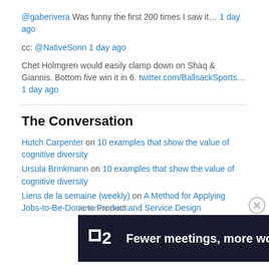@gaberivera Was funny the first 200 times I saw it… 1 day ago
cc: @NativeSonn 1 day ago
Chet Holmgren would easily clamp down on Shaq & Giannis. Bottom five win it in 6. twitter.com/BallsackSports… 1 day ago
The Conversation
Hutch Carpenter on 10 examples that show the value of cognitive diversity
Ursula Brinkmann on 10 examples that show the value of cognitive diversity
Liens de la semaine (weekly) on A Method for Applying Jobs-to-Be-Done to Product and Service Design
Advertisements
[Figure (infographic): Dark advertisement banner for a productivity tool showing logo '2' and tagline 'Fewer meetings, more work.']